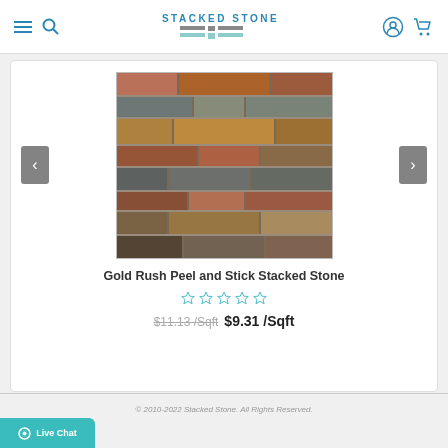Stacked Stone
[Figure (photo): Gold Rush Peel and Stick Stacked Stone product photo showing multicolored stacked stone tiles in brown, grey, red, and gold tones]
Gold Rush Peel and Stick Stacked Stone
$11.13 /Sqft $9.31 /Sqft
© 2010-2022 Stacked Stone. All Rights Reserved.